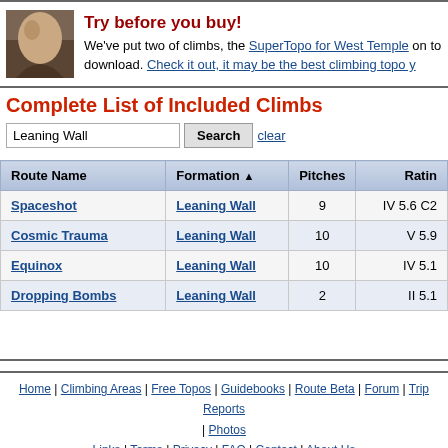Try before you buy! We've put two of climbs, the SuperTopo for West Temple on to download. Check it out, it may be the best climbing topo y
Complete List of Included Climbs
| Route Name | Formation | Pitches | Ratin |
| --- | --- | --- | --- |
| Spaceshot | Leaning Wall | 9 | IV 5.6 C2 |
| Cosmic Trauma | Leaning Wall | 10 | V 5.9 |
| Equinox | Leaning Wall | 10 | IV 5.1 |
| Dropping Bombs | Leaning Wall | 2 | II 5.1 |
Home | Climbing Areas | Free Topos | Guidebooks | Route Beta | Forum | Trip Reports | Photos | Links | Terms | Privacy | FAQ | Contact | About Us
Climbing Areas